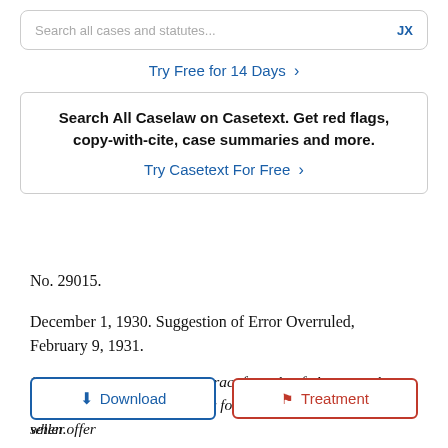Search all cases and statutes... JX
Try Free for 14 Days >
Search All Caselaw on Casetext. Get red flags, copy-with-cite, case summaries and more.
Try Casetext For Free >
No. 29015.
December 1, 1930. Suggestion of Error Overruled, February 9, 1931.
1. CONTRACTS. Order contract for sale of phonographs, giving buyer exclusive agency for resale, though unilateral when offer... ...ted by seller.